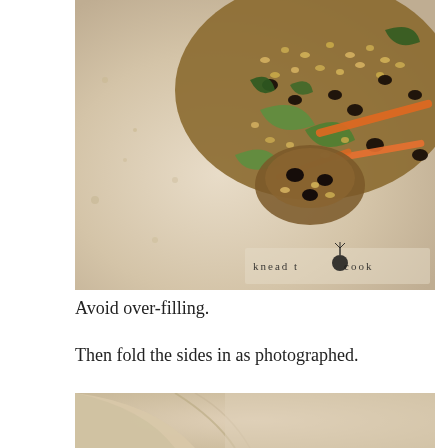[Figure (photo): Close-up photo of a flour tortilla wrap filled with quinoa, black beans, shredded carrots, zucchini, and greens. A watermark reads 'knead to cook' with a beet illustration in the bottom right corner.]
Avoid over-filling.
Then fold the sides in as photographed.
[Figure (photo): Close-up photo of a flour tortilla being folded, showing the sides being tucked in.]